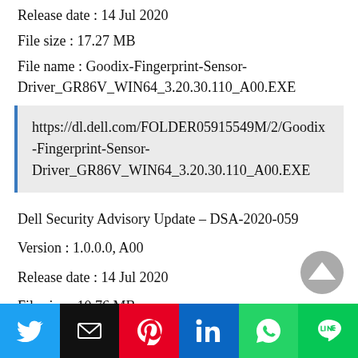Release date : 14 Jul 2020
File size : 17.27 MB
File name : Goodix-Fingerprint-Sensor-Driver_GR86V_WIN64_3.20.30.110_A00.EXE
https://dl.dell.com/FOLDER05915549M/2/Goodix-Fingerprint-Sensor-Driver_GR86V_WIN64_3.20.30.110_A00.EXE
Dell Security Advisory Update – DSA-2020-059
Version : 1.0.0.0, A00
Release date : 14 Jul 2020
File size : 10.76 MB
File name : Dell-Security-Advisory-Update-DSA-